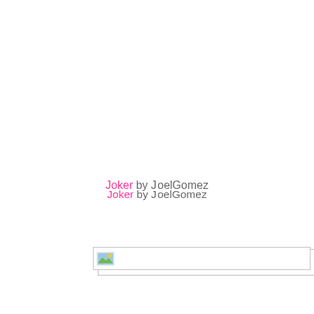Joker by JoelGomez
[Figure (photo): Broken/unloaded image placeholder for Joker by JoelGomez]
Charizard by el-grimlock
[Figure (photo): Broken/unloaded image placeholder for Charizard by el-grimlock]